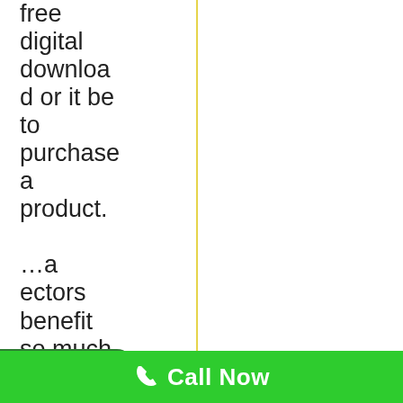free digital download or it be to purchase a product. ...a ectors benefit so much from funnels because
[Figure (other): Green chat widget button with speech bubble icon and 'We're offline' label]
Call Now